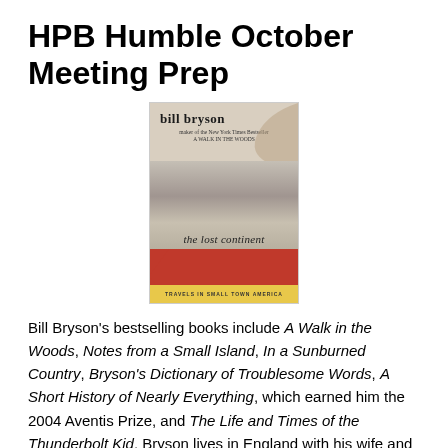HPB Humble October Meeting Prep
[Figure (photo): Book cover of 'The Lost Continent' by Bill Bryson, showing a covered bridge with an arrow sign reading 'Travels in Small Town America']
Bill Bryson's bestselling books include A Walk in the Woods, Notes from a Small Island, In a Sunburned Country, Bryson's Dictionary of Troublesome Words, A Short History of Nearly Everything, which earned him the 2004 Aventis Prize, and The Life and Times of the Thunderbolt Kid. Bryson lives in England with his wife and children. – from The Official Bill Bryson Website,